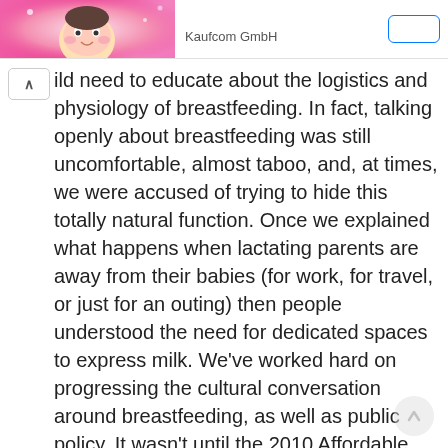[Figure (illustration): App store listing header with pink illustrated baby/character image on the left and Kaufcom GmbH app name on the right]
ild need to educate about the logistics and physiology of breastfeeding. In fact, talking openly about breastfeeding was still uncomfortable, almost taboo, and, at times, we were accused of trying to hide this totally natural function. Once we explained what happens when lactating parents are away from their babies (for work, for travel, or just for an outing) then people understood the need for dedicated spaces to express milk. We've worked hard on progressing the cultural conversation around breastfeeding, as well as public policy. It wasn't until the 2010 Affordable Care Act that providing workplace lactation accommodations became a federal labor law.
What does the future hold for Mamava?